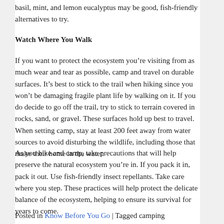basil, mint, and lemon eucalyptus may be good, fish-friendly alternatives to try.
Watch Where You Walk
If you want to protect the ecosystem you’re visiting from as much wear and tear as possible, camp and travel on durable surfaces. It’s best to stick to the trail when hiking since you won’t be damaging fragile plant life by walking on it. If you do decide to go off the trail, try to stick to terrain covered in rocks, sand, or gravel. These surfaces hold up best to travel. When setting camp, stay at least 200 feet away from water sources to avoid disturbing the wildlife, including those that make their home in the water.
As you hike and camp, take precautions that will help preserve the natural ecosystem you’re in. If you pack it in, pack it out. Use fish-friendly insect repellants. Take care where you step. These practices will help protect the delicate balance of the ecosystem, helping to ensure its survival for years to come.
Posted in Know Before You Go | Tagged camping